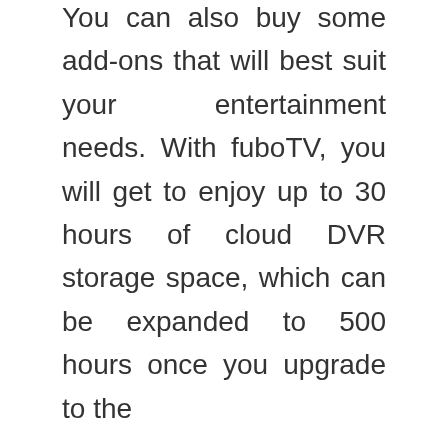You can also buy some add-ons that will best suit your entertainment needs. With fuboTV, you will get to enjoy up to 30 hours of cloud DVR storage space, which can be expanded to 500 hours once you upgrade to the